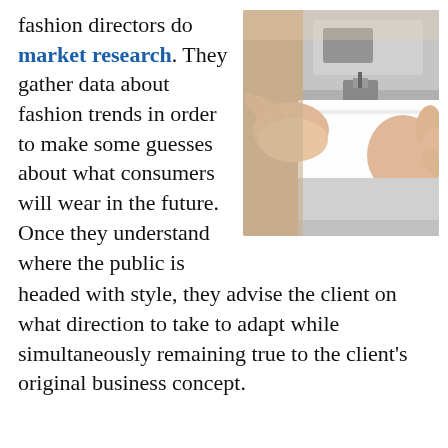fashion directors do market research. They gather data about fashion trends in order to make some guesses about what consumers will wear in the future. Once they understand where the public is headed with style, they advise the client on what direction to take to adapt while simultaneously remaining true to the client's original business concept.
[Figure (photo): Close-up photo of hands using a sewing machine, feeding white fabric through the presser foot. The sewing machine is silver/metallic. The background is blurred.]